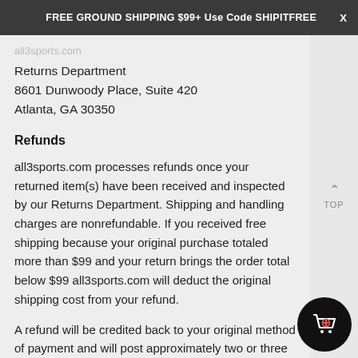FREE GROUND SHIPPING $99+ Use Code SHIPITFREE
Returns Department
8601 Dunwoody Place, Suite 420
Atlanta, GA 30350
Refunds
all3sports.com processes refunds once your returned item(s) have been received and inspected by our Returns Department. Shipping and handling charges are nonrefundable. If you received free shipping because your original purchase totaled more than $99 and your return brings the order total below $99 all3sports.com will deduct the original shipping cost from your refund.
A refund will be credited back to your original method of payment and will post approximately two or three days after the date of processing. Please note that it may take up to two billing